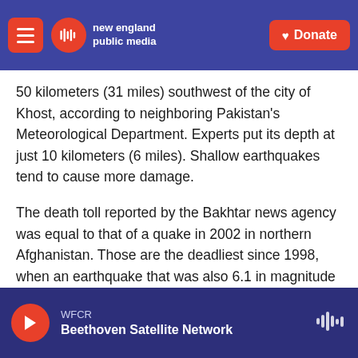new england public media | Donate
50 kilometers (31 miles) southwest of the city of Khost, according to neighboring Pakistan's Meteorological Department. Experts put its depth at just 10 kilometers (6 miles). Shallow earthquakes tend to cause more damage.
The death toll reported by the Bakhtar news agency was equal to that of a quake in 2002 in northern Afghanistan. Those are the deadliest since 1998, when an earthquake that was also 6.1 in magnitude and subsequent tremors in the remote northeast killed at least 4,500 people.
WFCR | Beethoven Satellite Network